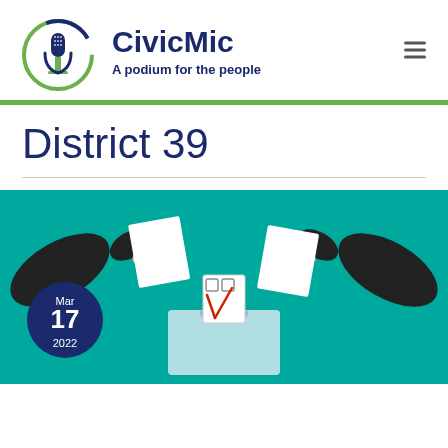[Figure (logo): CivicMic logo: microphone inside a green and dark blue circle]
CivicMic
A podium for the people
District 39
[Figure (illustration): Voting illustration with teal background showing two hands inserting ballots into a ballot box. A dark blue circular badge in the top left shows the date Mar 17 2022.]